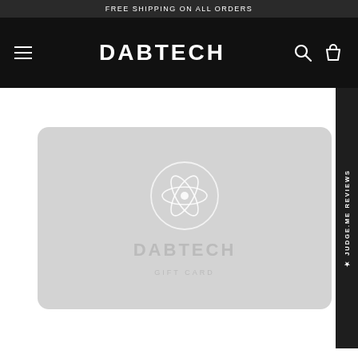FREE SHIPPING ON ALL ORDERS
[Figure (logo): DABTECH navigation bar with hamburger menu icon on left, DABTECH logo in center, search and bag icons on right, black background]
[Figure (illustration): DABTECH gift card with light gray background, atomic/electron orbit logo in white circle, DABTECH text in white, GIFT CARD text below]
★ JUDGE.ME REVIEWS